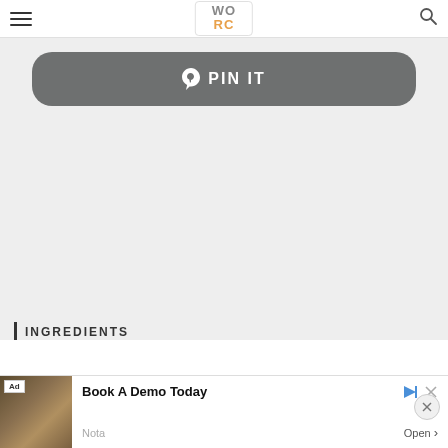WO RC (logo)
[Figure (screenshot): Pinterest 'PIN IT' button with rounded rectangle dark gray background and Pinterest logo icon]
[Figure (screenshot): Large empty light gray content area below the PIN IT button]
INGREDIENTS
[Figure (screenshot): Advertisement banner: Book A Demo Today - Nota, with legal/court image on left side, Open button and close X button]